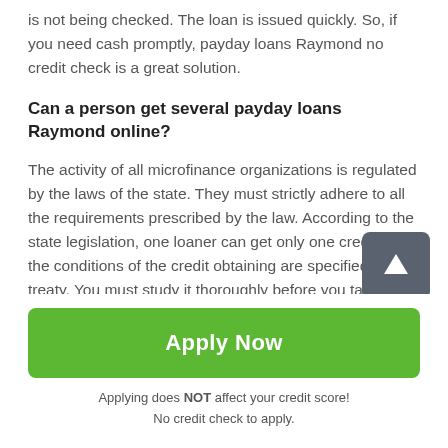is not being checked. The loan is issued quickly. So, if you need cash promptly, payday loans Raymond no credit check is a great solution.
Can a person get several payday loans Raymond online?
The activity of all microfinance organizations is regulated by the laws of the state. They must strictly adhere to all the requirements prescribed by the law. According to the state legislation, one loaner can get only one credit. All the conditions of the credit obtaining are specified in the l treaty. You must study it thoroughly before you take a Don't forget that “pre-salary” loans are given for a short
[Figure (other): Scroll to top button - dark grey square with upward arrow icon]
Apply Now
Applying does NOT affect your credit score!
No credit check to apply.